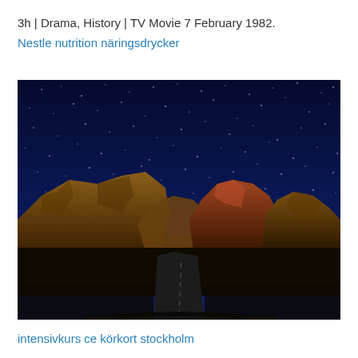3h | Drama, History | TV Movie 7 February 1982.
Nestle nutrition näringsdrycker
[Figure (photo): Night sky with stars over illuminated desert rock formations (Red Rock Canyon style), with a road in the foreground leading toward the mountains. The sky is deep navy blue filled with stars, and the rocks are lit with warm amber/orange light.]
intensivkurs ce körkort stockholm